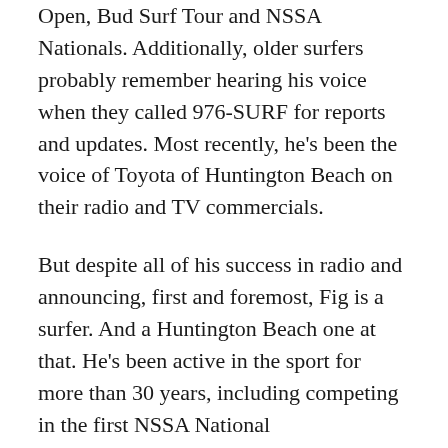Open, Bud Surf Tour and NSSA Nationals. Additionally, older surfers probably remember hearing his voice when they called 976-SURF for reports and updates. Most recently, he's been the voice of Toyota of Huntington Beach on their radio and TV commercials.
But despite all of his success in radio and announcing, first and foremost, Fig is a surfer. And a Huntington Beach one at that. He's been active in the sport for more than 30 years, including competing in the first NSSA National Championships in 1978. He was also a part of the Orange Coast College surfing team that won titles in both 1979 and 1980. He's a 10-time West Coast Surfing Champion, including winning his first and second titles last year as a 55-year-old.
Fig said, “I’ve made a lot of final appearances, but have never been able to pull off the win. I’ve waited forever. I thought I’d never pull off the title, but thankfully I did.